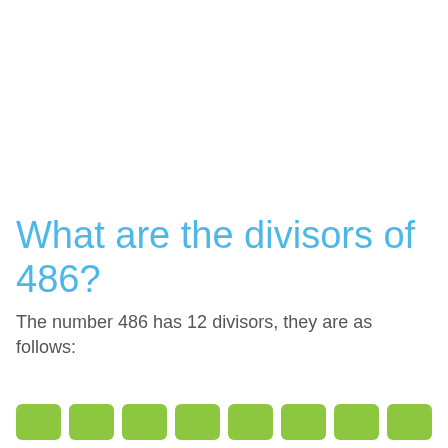What are the divisors of 486?
The number 486 has 12 divisors, they are as follows:
[Figure (other): Row of green rounded rectangle buttons partially visible at bottom of page]